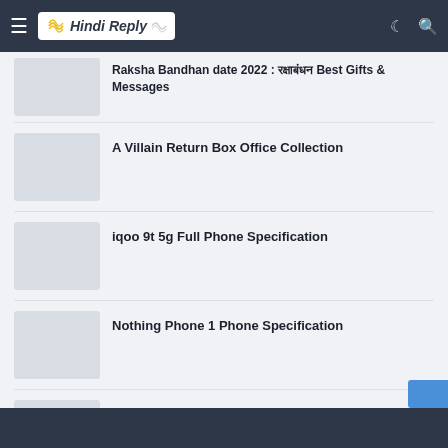Hindi Reply — navigation bar with hamburger, logo, dark mode, search icons
Raksha Bandhan date 2022 : [Hindi text] Best Gifts & Messages
A Villain Return Box Office Collection
iqoo 9t 5g Full Phone Specification
Nothing Phone 1 Phone Specification
2022 New Upcoming Movies : Big Budget Movies